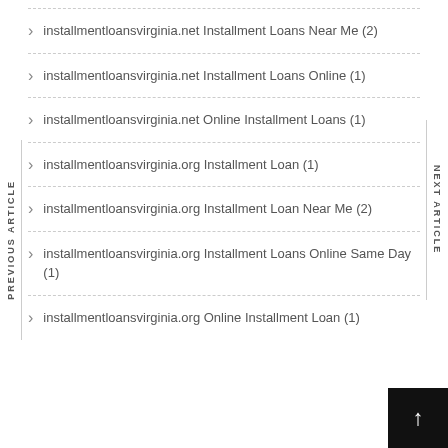installmentloansvirginia.net Installment Loans Near Me (2)
installmentloansvirginia.net Installment Loans Online (1)
installmentloansvirginia.net Online Installment Loans (1)
installmentloansvirginia.org Installment Loan (1)
installmentloansvirginia.org Installment Loan Near Me (2)
installmentloansvirginia.org Installment Loans Online Same Day (1)
installmentloansvirginia.org Online Installment Loan (1)